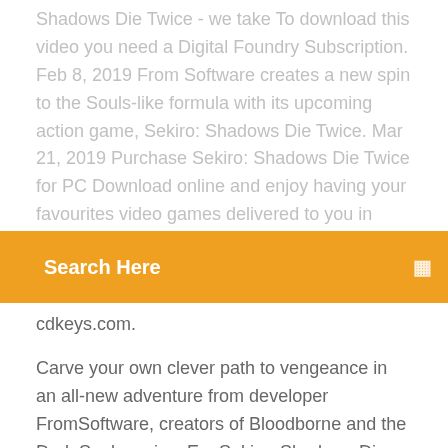Shadows Die Twice - we take To download this video you need a Digital Foundry Subscription. Feb 8, 2019 From Software creates a new spin to the Souls-like formula with its upcoming action game, Sekiro: Shadows Die Twice. Mar 21, 2019 Purchase Sekiro: Shadows Die Twice for PC Download online and enjoy having your favourites video games delivered to you in
Search Here
cdkeys.com.
Carve your own clever path to vengeance in an all-new adventure from developer FromSoftware, creators of Bloodborne and the Dark Souls series. Em Sekiro: Shadows Die Twice, você é o "lobo de um braço só", um guerreiro desfigurado e caído em desgraça que foi resgatado do abismo da morte. Destinado a proteger um jovem senhor que descende de uma antiga linhagem, você se tornará alvo de muitos inimigos cruéis, incluindo o perigoso clã Ashina. r/Sekiro: Welcome to the